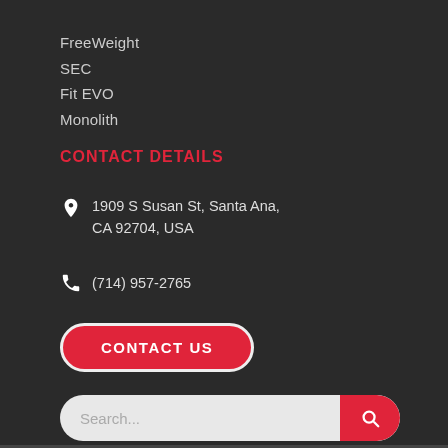FreeWeight
SEC
Fit EVO
Monolith
CONTACT DETAILS
1909 S Susan St, Santa Ana, CA 92704, USA
(714) 957-2765
[Figure (other): CONTACT US button — red pill-shaped button with white border and white bold uppercase text]
[Figure (other): Search bar — light gray pill-shaped input with placeholder text 'Search...' and a red rounded search button with magnifier icon]